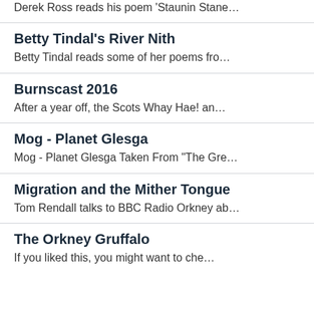Derek Ross reads his poem 'Staunin Stane…
Betty Tindal's River Nith
Betty Tindal reads some of her poems fro…
Burnscast 2016
After a year off, the Scots Whay Hae! an…
Mog - Planet Glesga
Mog - Planet Glesga Taken From "The Gre…
Migration and the Mither Tongue
Tom Rendall talks to BBC Radio Orkney ab…
The Orkney Gruffalo
If you liked this, you might want to che…